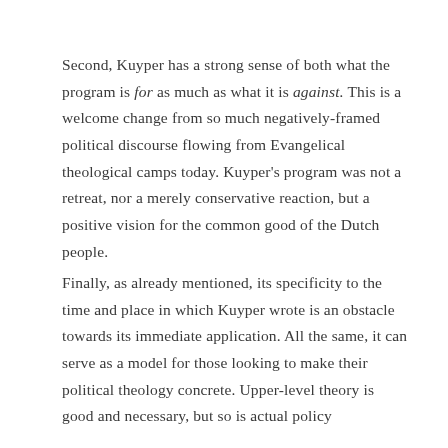Second, Kuyper has a strong sense of both what the program is for as much as what it is against. This is a welcome change from so much negatively-framed political discourse flowing from Evangelical theological camps today. Kuyper's program was not a retreat, nor a merely conservative reaction, but a positive vision for the common good of the Dutch people.
Finally, as already mentioned, its specificity to the time and place in which Kuyper wrote is an obstacle towards its immediate application. All the same, it can serve as a model for those looking to make their political theology concrete. Upper-level theory is good and necessary, but so is actual policy